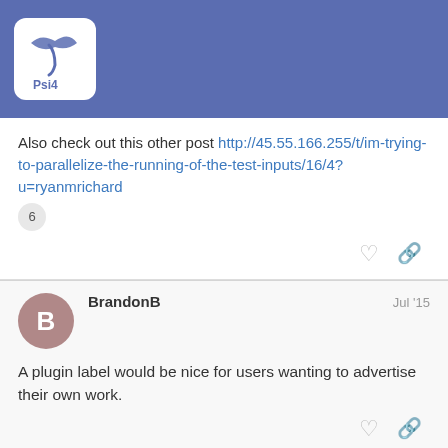[Figure (logo): Psi4 software logo in header bar]
Also check out this other post http://45.55.166.255/t/im-trying-to-parallelize-the-running-of-the-test-inputs/16/4?u=ryanmrichard
6
BrandonB  Jul '15
A plugin label would be nice for users wanting to advertise their own work.
crawdad  Jul '15
Not sure how to make the logo bigger. If a...
3 / 40